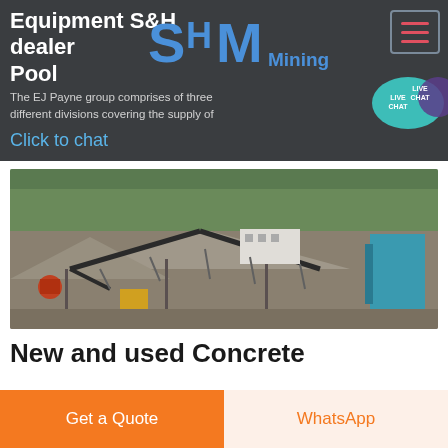Equipment S&H dealer Pool
[Figure (logo): SH Mining logo with large blue S, H, M letters and 'Mining' text]
The EJ Payne group comprises of three different divisions covering the supply of
Click to chat
[Figure (photo): Aerial view of a quarry/mining site with conveyor belts, aggregate stockpiles, industrial buildings and a blue crane/machine on the right]
New and used Concrete
Get a Quote
WhatsApp